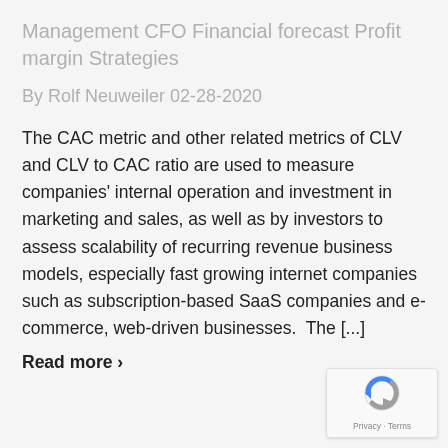Management CFO Financial forecast Profit margin Strategies
By Rolf Neuweiler 02-28-2020
The CAC metric and other related metrics of CLV and CLV to CAC ratio are used to measure companies' internal operation and investment in marketing and sales, as well as by investors to assess scalability of recurring revenue business models, especially fast growing internet companies such as subscription-based SaaS companies and e-commerce, web-driven businesses.  The [...]
Read more ›